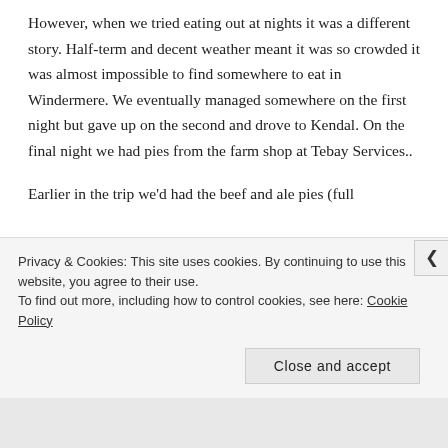However, when we tried eating out at nights it was a different story. Half-term and decent weather meant it was so crowded it was almost impossible to find somewhere to eat in Windermere. We eventually managed somewhere on the first night but gave up on the second and drove to Kendal. On the final night we had pies from the farm shop at Tebay Services..
Earlier in the trip we'd had the beef and ale pies (full
Privacy & Cookies: This site uses cookies. By continuing to use this website, you agree to their use.
To find out more, including how to control cookies, see here: Cookie Policy
Close and accept